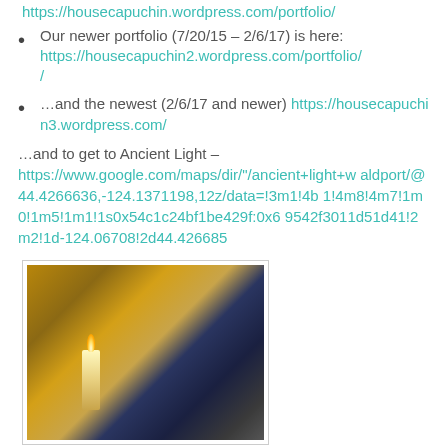https://housecapuchin.wordpress.com/portfolio/
Our newer portfolio (7/20/15 – 2/6/17) is here: https://housecapuchin2.wordpress.com/portfolio/
…and the newest (2/6/17 and newer) https://housecapuchin3.wordpress.com/
…and to get to Ancient Light – https://www.google.com/maps/dir/"/ancient+light+waldport/@44.4266636,-124.1371198,12z/data=!3m1!4b1!4m8!4m7!1m0!1m5!1m1!1s0x54c1c24bf1be429f:0x69542f3011d51d41!2m2!1d-124.06708!2d44.426685
[Figure (photo): Indoor scene showing candles and objects on a table with books in a dim setting]
In ministerio autem Somnium! – Anja Snihova', graeca doctrina servus to House Capuchin.